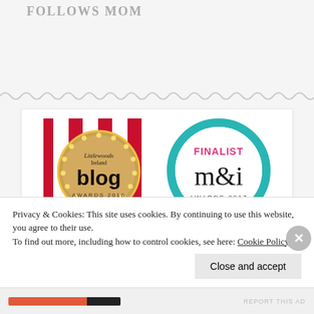FOLLOWS MOM
[Figure (illustration): Two award badge images side by side: Littlewoods Ireland Blog Awards 2016 (circular gold badge on red striped background) and m&i Awards 2017 Finalist (teal circular badge with pink FINALIST text)]
Privacy & Cookies: This site uses cookies. By continuing to use this website, you agree to their use.
To find out more, including how to control cookies, see here: Cookie Policy
Close and accept